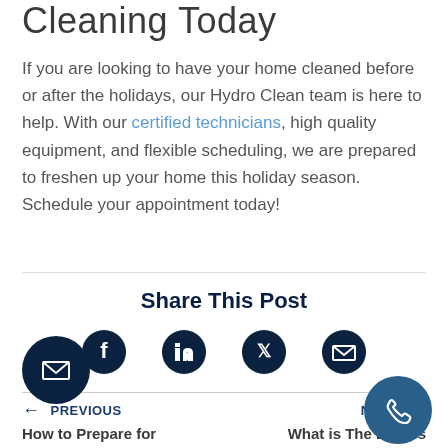Cleaning Today
If you are looking to have your home cleaned before or after the holidays, our Hydro Clean team is here to help. With our certified technicians, high quality equipment, and flexible scheduling, we are prepared to freshen up your home this holiday season. Schedule your appointment today!
Share This Post
[Figure (infographic): Four social share icons: Facebook, LinkedIn, Twitter, Email]
PREVIOUS How to Prepare for
NEXT What is The Bigges